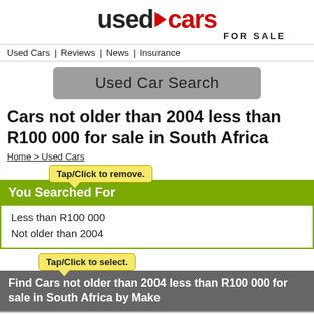[Figure (logo): Used Cars For Sale logo — 'used' in black bold, red arrow, 'cars' in red bold, 'FOR SALE' in small caps below]
Used Cars | Reviews | News | Insurance
Used Car Search
Cars not older than 2004 less than R100 000 for sale in South Africa
Home > Used Cars
Tap/Click to remove.
You Searched For
Less than R100 000
Not older than 2004
Tap/Click to select.
Find Cars not older than 2004 less than R100 000 for sale in South Africa by Make
Alfa Romeo  Chevrolet  Ford  Honda  Hyundai  Mercedes-Benz